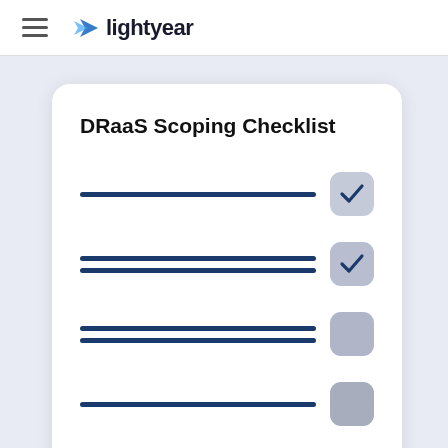lightyear
[Figure (illustration): DRaaS Scoping Checklist illustration showing a white card with a title and checklist items with blue horizontal lines representing text and checkbox squares, two checked and two unchecked, on a light blue-grey background]
DRaaS Scoping Checklist